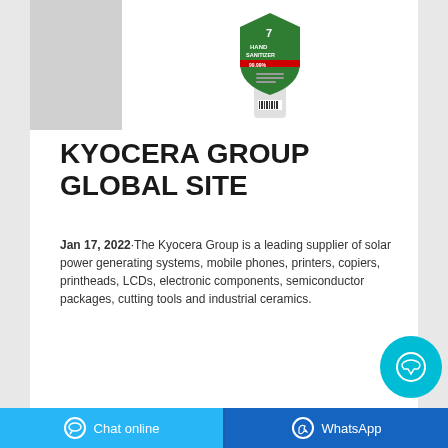[Figure (photo): Product photo of a hand sanitizer bottle with green shield-shaped label showing '7 HAND SANITIZER 99.99%' text, displayed against white background with a gray placeholder panel on the left]
KYOCERA GROUP GLOBAL SITE
Jan 17, 2022·The Kyocera Group is a leading supplier of solar power generating systems, mobile phones, printers, copiers, printheads, LCDs, electronic components, semiconductor packages, cutting tools and industrial ceramics.
[Figure (illustration): Cyan/light blue circular chat button in the lower right area]
Chat online   WhatsApp